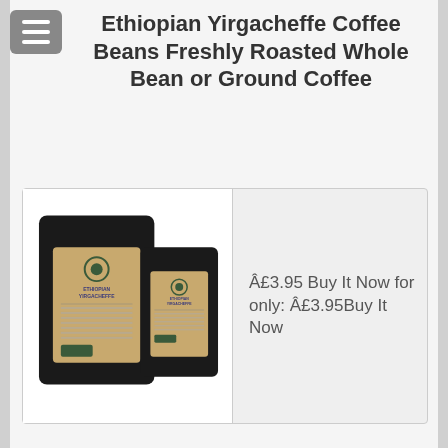Ethiopian Yirgacheffe Coffee Beans Freshly Roasted Whole Bean or Ground Coffee
[Figure (photo): Two black coffee pouches with brown kraft paper labels showing Ethiopian Yirgacheffe branding, one larger and one smaller, on a white background.]
Â£3.95 Buy It Now for only: Â£3.95Buy It Now